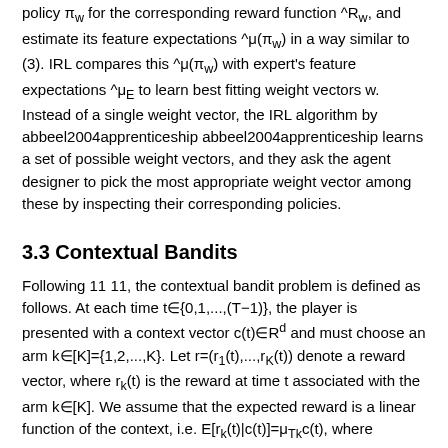Given a weight vector w, one can compute the optimal policy π_w for the corresponding reward function ^R_w, and estimate its feature expectations ^μ(π_w) in a way similar to (3). IRL compares this ^μ(π_w) with expert's feature expectations ^μ_E to learn best fitting weight vectors w. Instead of a single weight vector, the IRL algorithm by abbeel2004apprenticeship abbeel2004apprenticeship learns a set of possible weight vectors, and they ask the agent designer to pick the most appropriate weight vector among these by inspecting their corresponding policies.
3.3 Contextual Bandits
Following 11 11, the contextual bandit problem is defined as follows. At each time t∈{0,1,...,(T−1)}, the player is presented with a context vector c(t)∈R^d and must choose an arm k∈[K]={1,2,...,K}. Let r=(r_1(t),...,r_K(t)) denote a reward vector, where r_k(t) is the reward at time t associated with the arm k∈[K]. We assume that the expected reward is a linear function of the context, i.e. E[r_k(t)|c(t)]=μ_{T_k}c(t), where μ_k is an unknown weight vector (to be learned from the data) associated with the arm k.